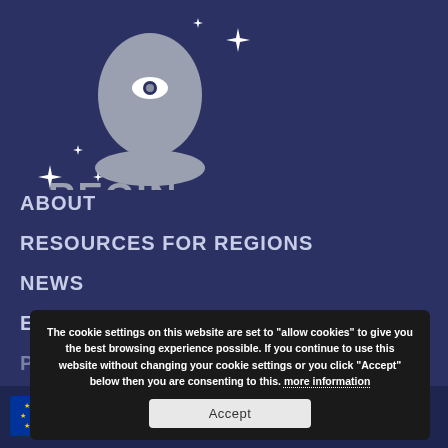[Figure (logo): REGIN logo — stylized gray human head silhouette with a single eye symbol, surrounded by white sparkle/star decorations. Below reads 'REGIN' in large letters and 'REGIONS FOR MIGRANTS AND REFUGEES INTEGRATION' in smaller text.]
ABOUT
RESOURCES FOR REGIONS
NEWS
EVENTS
PUBLICATIONS
CONTACT
The cookie settings on this website are set to "allow cookies" to give you the best browsing experience possible. If you continue to use this website without changing your cookie settings or you click "Accept" below then you are consenting to this. more information
Accept
This project is funded by the European Union's Asylum, Migration and Integration Fund